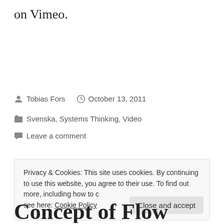on Vimeo.
Tobias Fors   October 13, 2011
Svenska, Systems Thinking, Video
Leave a comment
Privacy & Cookies: This site uses cookies. By continuing to use this website, you agree to their use. To find out more, including how to control cookies, see here: Cookie Policy
Close and accept
Concept of Flow